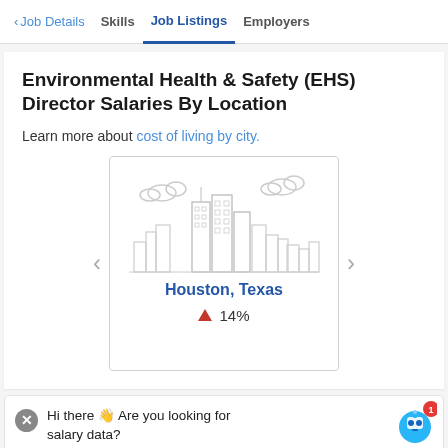< Job Details  Skills  Job Listings  Employers
Environmental Health & Safety (EHS) Director Salaries By Location
Learn more about cost of living by city.
[Figure (illustration): Carousel card showing Houston, Texas city skyline illustration with upward triangle and 14% label]
Hi there 👋 Are you looking for salary data?
Employees with Environmental Health & Safety (EHS)